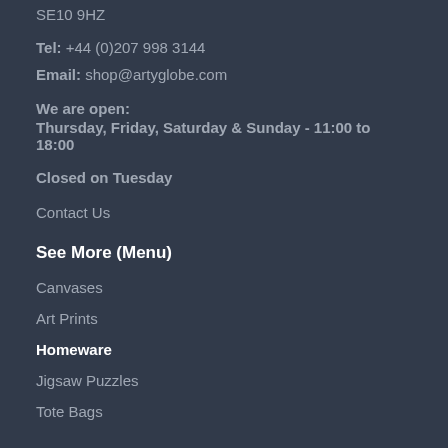SE10 9HZ
Tel: +44 (0)207 998 3144
Email: shop@artyglobe.com
We are open:
Thursday, Friday, Saturday & Sunday - 11:00 to 18:00
Closed on Tuesday
Contact Us
See More (Menu)
Canvases
Art Prints
Homeware
Jigsaw Puzzles
Tote Bags